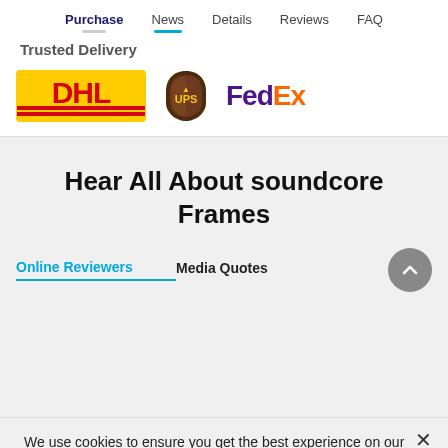Purchase  News  Details  Reviews  FAQ
Trusted Delivery
[Figure (logo): DHL, UPS, and FedEx delivery company logos]
Hear All About soundcore Frames
Online Reviewers   Media Quotes
We use cookies to ensure you get the best experience on our website. By continuing to browse, you agree to our use of cookies.
OK, got it!